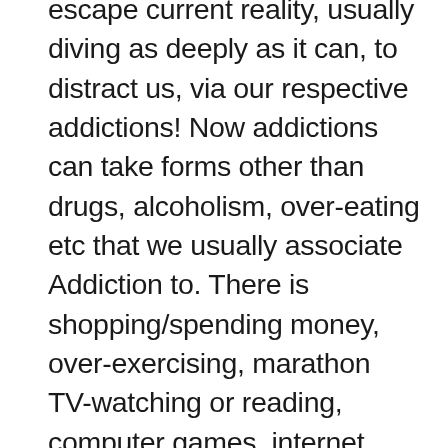escape current reality, usually diving as deeply as it can, to distract us, via our respective addictions! Now addictions can take forms other than drugs, alcoholism, over-eating etc that we usually associate Addiction to. There is shopping/spending money, over-exercising, marathon TV-watching or reading, computer games, internet surfing - anything that takes our attention away from the NOW in order to divert ourselves away from what the NOW holds that our Ego-Self isn't interested in dealing with. In other words, scared to death of, in denial of, resistant to change....